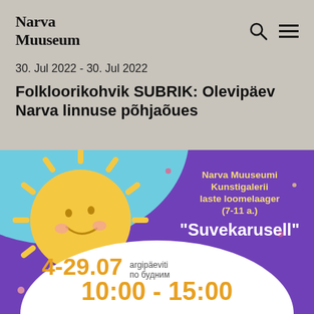Narva Muuseum
30. Jul 2022 - 30. Jul 2022
Folkloorikohvik SUBRIK: Olevipäev Narva linnuse põhjaõues
[Figure (illustration): Event poster on purple background with cartoon sun on teal/sky background, text reading 'Narva Muuseumi Kunstigalerii laste loomelaager (7-11 a.) "Suvekarusell"' with dates 4-29.07 argipäeviti / по будням 10:00 - 15:00 in orange text on white blob shape]